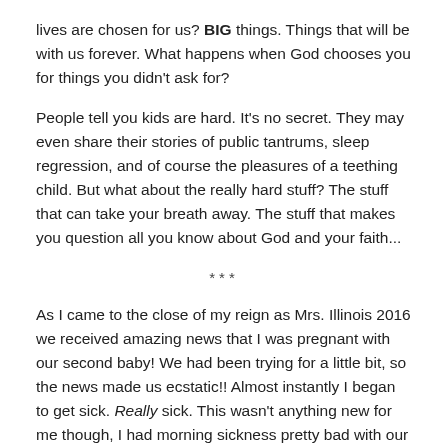lives are chosen for us? BIG things. Things that will be with us forever. What happens when God chooses you for things you didn't ask for?
People tell you kids are hard. It's no secret. They may even share their stories of public tantrums, sleep regression, and of course the pleasures of a teething child. But what about the really hard stuff? The stuff that can take your breath away. The stuff that makes you question all you know about God and your faith...
***
As I came to the close of my reign as Mrs. Illinois 2016 we received amazing news that I was pregnant with our second baby! We had been trying for a little bit, so the news made us ecstatic!! Almost instantly I began to get sick. Really sick. This wasn't anything new for me though, I had morning sickness pretty bad with our first child, so I just tried to stay focused on